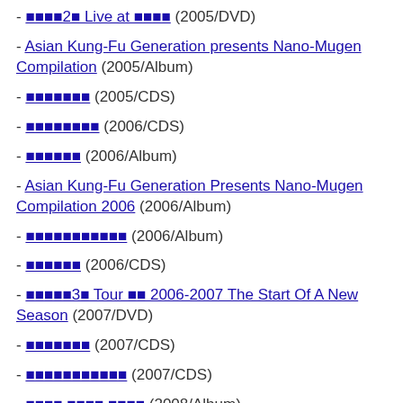- ■■■■2■ Live at ■■■■ (2005/DVD)
- Asian Kung-Fu Generation presents Nano-Mugen Compilation (2005/Album)
- ■■■■■■■ (2005/CDS)
- ■■■■■■■■ (2006/CDS)
- ■■■■■■ (2006/Album)
- Asian Kung-Fu Generation Presents Nano-Mugen Compilation 2006 (2006/Album)
- ■■■■■■■■■■■ (2006/Album)
- ■■■■■■ (2006/CDS)
- ■■■■■3■ Tour ■■ 2006-2007 The Start Of A New Season (2007/DVD)
- ■■■■■■■ (2007/CDS)
- ■■■■■■■■■■■ (2007/CDS)
- ■■■■ ■■■■ ■■■■ (2008/Album)
- ■■■■■ (2008/DL)